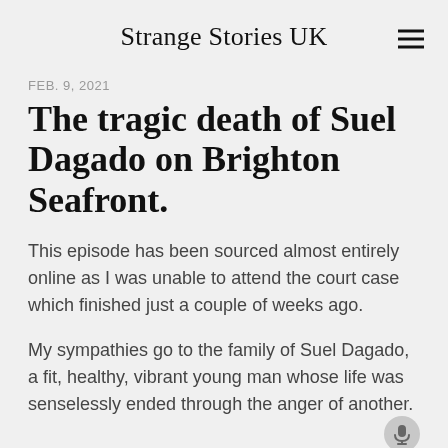Strange Stories UK
FEB. 9, 2021
The tragic death of Suel Dagado on Brighton Seafront.
This episode has been sourced almost entirely online as I was unable to attend the court case which finished just a couple of weeks ago.
My sympathies go to the family of Suel Dagado, a fit, healthy, vibrant young man whose life was senselessly ended through the anger of another.